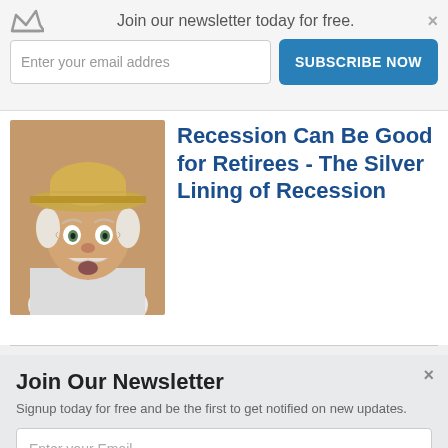Join our newsletter today for free.
[Figure (screenshot): Email subscription bar with crown icon, email input field, and blue SUBSCRIBE NOW button]
Recession Can Be Good for Retirees - The Silver Lining of Recession
[Figure (photo): Elderly man with white hair wearing a straw hat, looking surprised, against a tan/brown background]
Join Our Newsletter
Signup today for free and be the first to get notified on new updates.
Enter your Email
SUBSCRIBE NOW